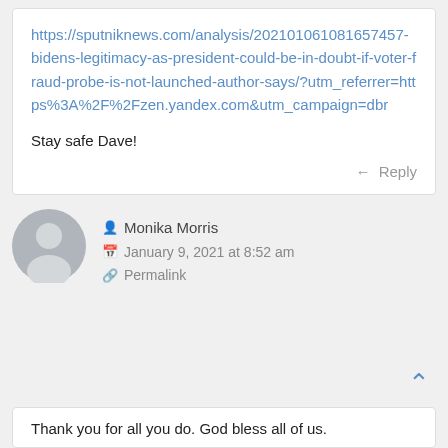https://sputniknews.com/analysis/20210106 1081657457-bidens-legitimacy-as-president-could-be-in-doubt-if-voter-fraud-probe-is-not-launched-author-says/?utm_referrer=https%3A%2F%2Fzen.yandex.com&utm_campaign=dbr
Stay safe Dave!
Reply
[Figure (illustration): Generic grey user avatar circle icon]
Monika Morris
January 9, 2021 at 8:52 am
Permalink
Thank you for all you do. God bless all of us.